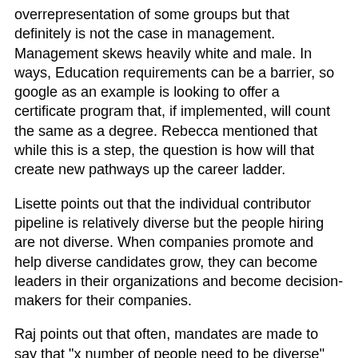overrepresentation of some groups but that definitely is not the case in management. Management skews heavily white and male. In ways, Education requirements can be a barrier, so google as an example is looking to offer a certificate program that, if implemented, will count the same as a degree. Rebecca mentioned that while this is a step, the question is how will that create new pathways up the career ladder.
Lisette points out that the individual contributor pipeline is relatively diverse but the people hiring are not diverse. When companies promote and help diverse candidates grow, they can become leaders in their organizations and become decision-makers for their companies.
Raj points out that often, mandates are made to say that "x number of people need to be diverse" but there's little emphasis beyond the numbers. Hiring is great but what matters is the path and opportunities for the hires beyond just filling seats. where will these people go in the future? Will they be seen as valuable team members, encouraged to move up, and rise up in the organization?